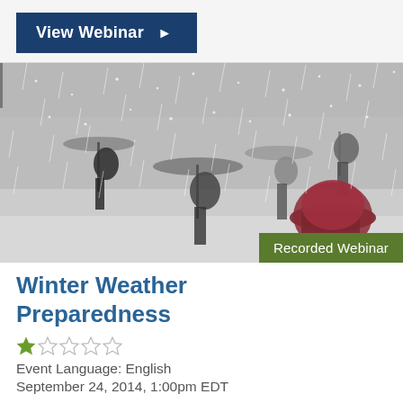View Webinar ▶
[Figure (photo): People walking in heavy snowfall holding umbrellas, winter weather scene]
Recorded Webinar
Winter Weather Preparedness
★☆☆☆☆
Event Language: English
September 24, 2014, 1:00pm EDT